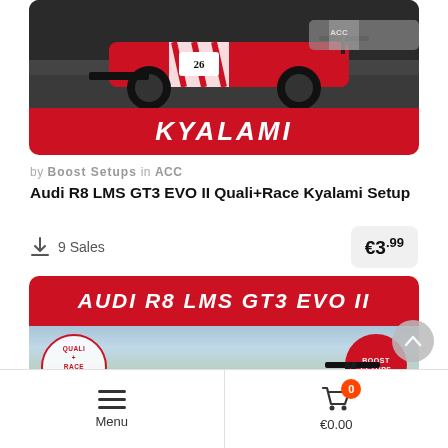[Figure (photo): Top product card showing a red Audi R8 LMS GT3 EVO II race car with number 26 on Kyalami track, with a red banner at bottom reading KYALAMI in white italic text]
by Boost Setups in ACC
Audi R8 LMS GT3 EVO II Quali+Race Kyalami Setup
9 Sales   €3.99
[Figure (photo): Second product card showing AUDI R8 LMS GT3 EVO II in large white italic text on red header bar, with the red race car #26 below, a stamp circle badge left reading QUALI + RACE + SETUP and a red circle badge right reading BOOST SETUPS]
Menu   €0.00   0